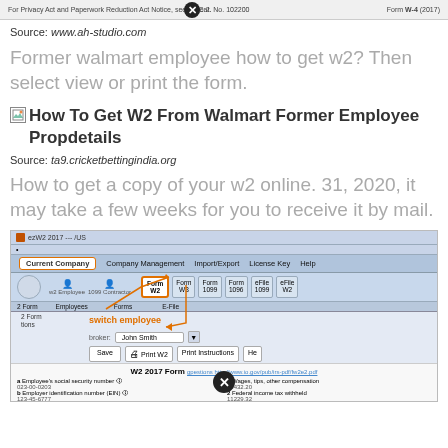[Figure (screenshot): Top strip of a W-4 form with Privacy Act notice, Cat. No., and Form W-4 2017 label, with a close button overlay]
Source: www.ah-studio.com
Former walmart employee how to get w2? Then select view or print the form.
[Figure (screenshot): Image placeholder icon followed by text: How To Get W2 From Walmart Former Employee Propdetails]
Source: ta9.cricketbettingindia.org
How to get a copy of your w2 online. 31, 2020, it may take a few weeks for you to receive it by mail.
[Figure (screenshot): Screenshot of ezW2 2017 software showing navigation bar with Current Company highlighted, toolbar with Form W2 button highlighted with orange arrow annotations, switch employee label with arrow, employee browser field showing John Smith, Save/Print W2/Print Instructions/Help buttons, and W2 2017 Form section below with social security number, EIN, employer name fields and wage/tax fields]